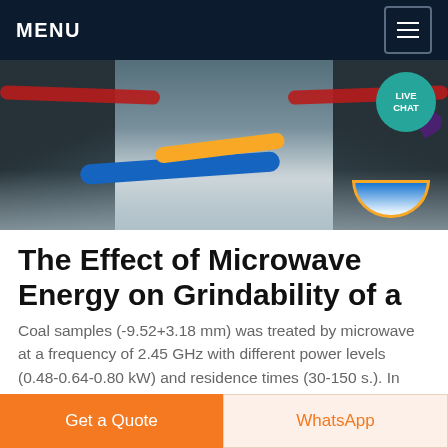MENU
[Figure (photo): Industrial factory floor with machinery, colored hoses/tubes (blue, yellow, red), and a bowl-shaped container. A live chat bubble is visible in the top-right corner of the image.]
The Effect of Microwave Energy on Grindability of a
Coal samples (-9.52+3.18 mm) was treated by microwave at a frequency of 2.45 GHz with different power levels (0.48-0.64-0.80 kW) and residence times (30-150 s.). In order to determine the crushing/grinding resistance of low ranked lignite coal samples treated by microwave oven,